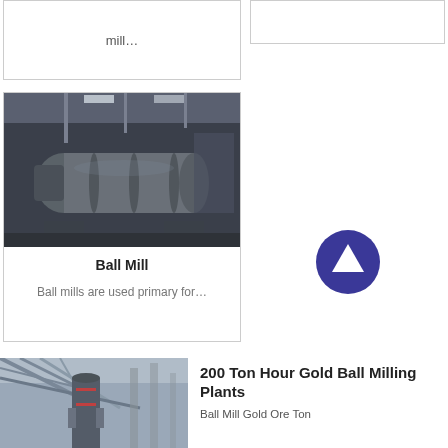mill…
[Figure (photo): Empty white card on right top area]
[Figure (photo): Ball Mill industrial machine photo — large cylindrical grey ball mill in a factory/warehouse setting]
Ball Mill
Ball mills are used primary for…
[Figure (illustration): Dark blue circular up-arrow button/icon]
[Figure (photo): 200 Ton Hour Gold Ball Milling Plants — industrial structure with cylindrical tower and overhead supports]
200 Ton Hour Gold Ball Milling Plants
Ball Mill Gold Ore Ton